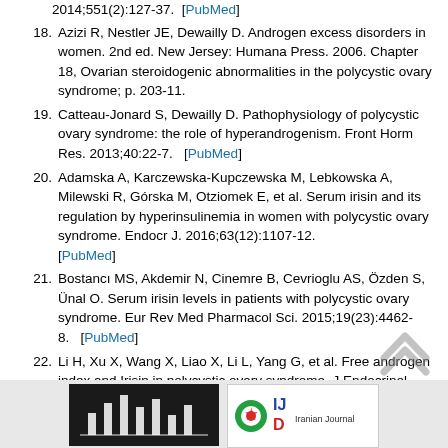2014;551(2):127-37.  [PubMed]
18. Azizi R, Nestler JE, Dewailly D. Androgen excess disorders in women. 2nd ed. New Jersey: Humana Press. 2006. Chapter 18, Ovarian steroidogenic abnormalities in the polycystic ovary syndrome; p. 203-11.
19. Catteau-Jonard S, Dewailly D. Pathophysiology of polycystic ovary syndrome: the role of hyperandrogenism. Front Horm Res. 2013;40:22-7.  [PubMed]
20. Adamska A, Karczewska-Kupczewska M, Lebkowska A, Milewski R, Górska M, Otziomek E, et al. Serum irisin and its regulation by hyperinsulinemia in women with polycystic ovary syndrome. Endocr J. 2016;63(12):1107-12. [PubMed]
21. Bostancı MS, Akdemir N, Cinemre B, Cevrioglu AS, Özden S, Ünal O. Serum irisin levels in patients with polycystic ovary syndrome. Eur Rev Med Pharmacol Sci. 2015;19(23):4462-8.  [PubMed]
22. Li H, Xu X, Wang X, Liao X, Li L, Yang G, et al. Free androgen index and Irisin in polycystic ovary syndrome. J Endocrinol Invest. 2016;39(5):549-56.  [PubMed]
[Figure (other): Dark banner image at bottom left, appears to be a chart or logo image with white lines on dark background]
[Figure (logo): Iranian Journal logo with national flag colors and stylized text]